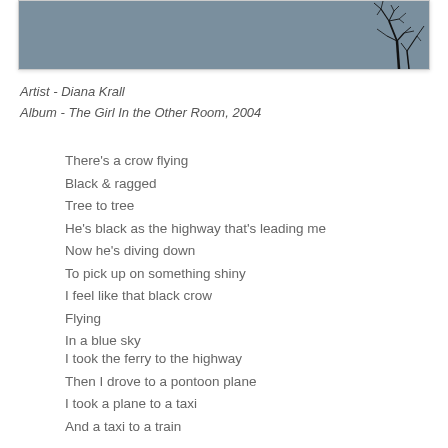[Figure (photo): Photograph of bare tree branches silhouetted against a grey-blue sky]
Artist - Diana Krall
Album - The Girl In the Other Room, 2004
There's a crow flying
Black & ragged
Tree to tree
He's black as the highway that's leading me
Now he's diving down
To pick up on something shiny
I feel like that black crow
Flying
In a blue sky
I took the ferry to the highway
Then I drove to a pontoon plane
I took a plane to a taxi
And a taxi to a train